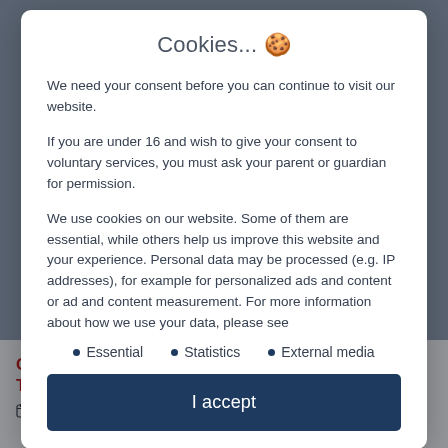Cookies... 🍪
We need your consent before you can continue to visit our website.
If you are under 16 and wish to give your consent to voluntary services, you must ask your parent or guardian for permission.
We use cookies on our website. Some of them are essential, while others help us improve this website and your experience. Personal data may be processed (e.g. IP addresses), for example for personalized ads and content or ad and content measurement. For more information about how we use your data, please see
Essential
Statistics
External media
I accept
COMPANY FOR A SPORTS CAR TOUR THROUGH THE PALATINATE.
8. August 2022    News    drive in motion